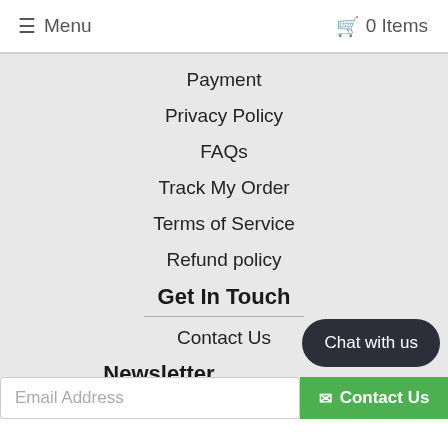≡ Menu   🛒 0 Items
Payment
Privacy Policy
FAQs
Track My Order
Terms of Service
Refund policy
Get In Touch
Contact Us
Newsletter
Email Address
Chat with us
Contact Us